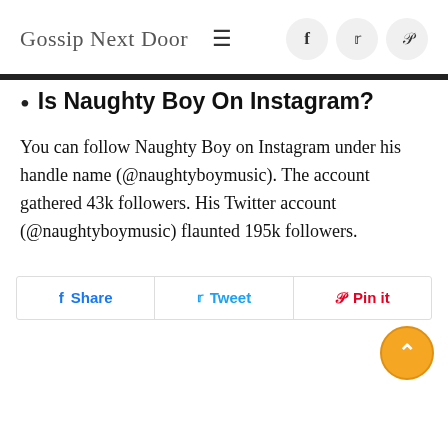Gossip Next Door
Is Naughty Boy On Instagram?
You can follow Naughty Boy on Instagram under his handle name (@naughtyboymusic). The account gathered 43k followers. His Twitter account (@naughtyboymusic) flaunted 195k followers.